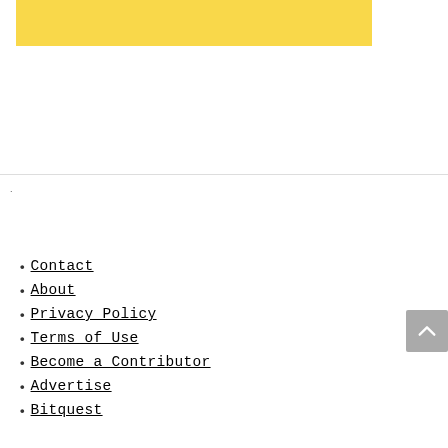[Figure (other): Yellow banner/advertisement block at the top of the page]
Contact
About
Privacy Policy
Terms of Use
Become a Contributor
Advertise
Bitquest